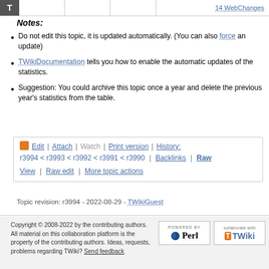14 WebChanges
Notes:
Do not edit this topic, it is updated automatically. (You can also force an update)
TWikiDocumentation tells you how to enable the automatic updates of the statistics.
Suggestion: You could archive this topic once a year and delete the previous year's statistics from the table.
Edit | Attach | Watch | Print version | History: r3994 < r3993 < r3992 < r3991 < r3990 | Backlinks | Raw View | Raw edit | More topic actions
Topic revision: r3994 - 2022-08-29 - TWikiGuest
Copyright © 2008-2022 by the contributing authors. All material on this collaboration platform is the property of the contributing authors. Ideas, requests, problems regarding TWiki? Send feedback